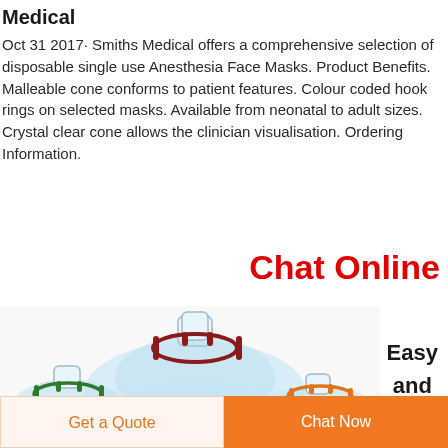Medical
Oct 31 2017· Smiths Medical offers a comprehensive selection of disposable single use Anesthesia Face Masks. Product Benefits. Malleable cone conforms to patient features. Colour coded hook rings on selected masks. Available from neonatal to adult sizes. Crystal clear cone allows the clinician visualisation. Ordering Information.
Chat Online
[Figure (photo): Photo of multiple anesthesia face masks in different sizes with colored hook rings — green, dark red/maroon, and orange — showing transparent cone bodies and hook ring connectors.]
Easy and
Get a Quote
Chat Now